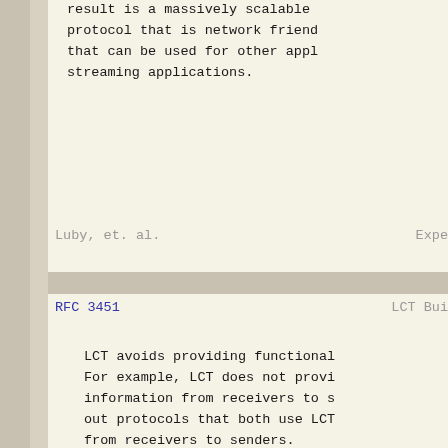result is a massively scalable protocol that is network friendly that can be used for other applications. streaming applications.
Luby, et. al.                                          Expe
RFC 3451                                               LCT Bui
LCT avoids providing functional For example, LCT does not provi information from receivers to s out protocols that both use LCT from receivers to senders.
LCT includes general support fo